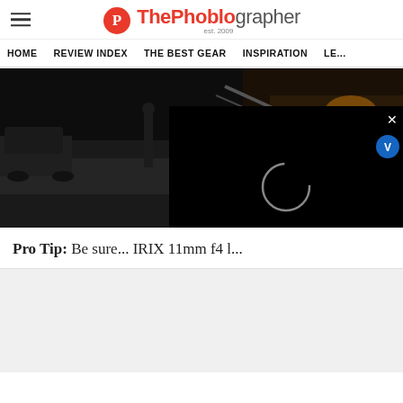ThePhoblographer — Home | Review Index | The Best Gear | Inspiration | Le...
[Figure (photo): Dark nighttime street scene showing a road, parked cars, and a lit bar or counter area with warm golden light on the right side.]
[Figure (screenshot): Video player overlay on black background with a loading spinner circle in the center, an X close button in the top-right corner, and a V badge icon partially visible at top-right.]
Pro Tip: Be sure... IRIX 11mm f4 l...